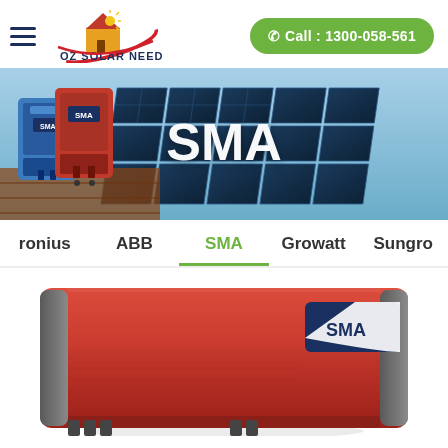[Figure (logo): OZ Solar Needs logo with house and sun icon and red swoosh]
Call : 1300-058-561
[Figure (photo): Hero banner showing SMA solar inverters (blue and red) mounted on a solar panel rooftop, with the text SMA overlaid in white]
SMA
ronius   ABB   SMA   Growatt   Sungro
[Figure (photo): Red SMA solar inverter product photo shown partially at the bottom of the page]